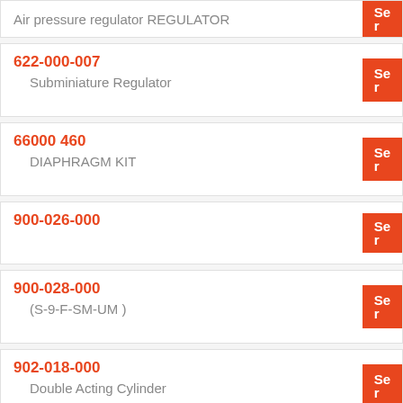Air pressure regulator REGULATOR
622-000-007
    Subminiature Regulator
66000 460
    DIAPHRAGM KIT
900-026-000
900-028-000
    (S-9-F-SM-UM )
902-018-000
    Double Acting Cylinder